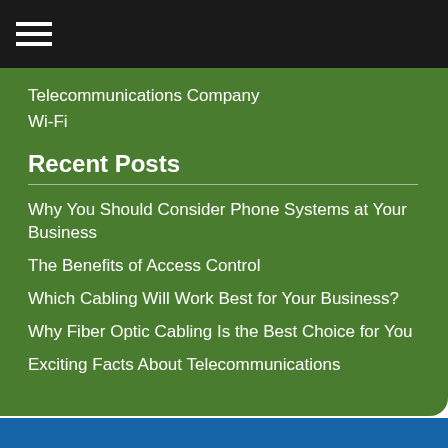☰ (hamburger menu icon)
Telecommunications Company
Wi-Fi
Recent Posts
Why You Should Consider Phone Systems at Your Business
The Benefits of Access Control
Which Cabling Will Work Best for Your Business?
Why Fiber Optic Cabling Is the Best Choice for You
Exciting Facts About Telecommunications